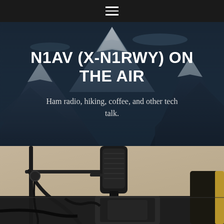Navigation menu bar
N1AV (X-N1RWY) ON THE AIR
Ham radio, hiking, coffee, and other tech talk.
[Figure (photo): Close-up photo of a microphone stand and audio equipment on a desk with a beige wall background]